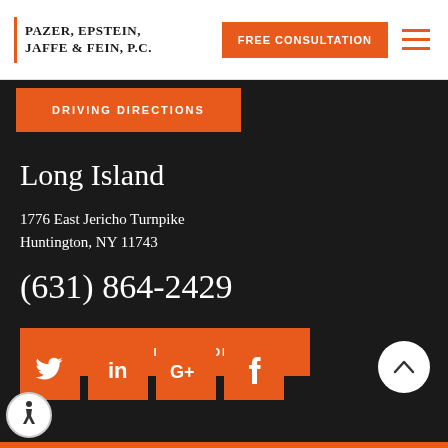PAZER, EPSTEIN, JAFFE & FEIN, P.C. | FREE CONSULTATION
DRIVING DIRECTIONS
Long Island
1776 East Jericho Turnpike
Huntington, NY 11743
(631) 864-2429
DRIVING DIRECTIONS
[Figure (other): Social media icons row: Twitter, LinkedIn, Google+, Facebook — orange square buttons with white icons]
[Figure (other): Back to top circular button with upward chevron arrow, white background]
[Figure (other): Accessibility icon — white circle with wheelchair symbol]